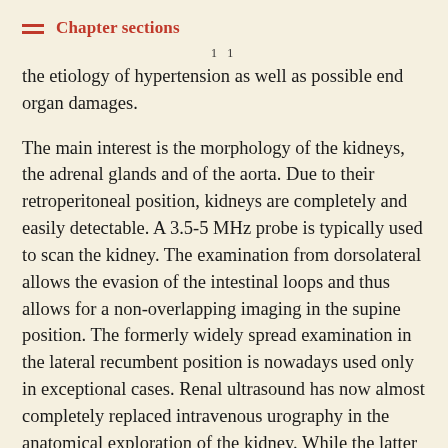Chapter sections
the etiology of hypertension as well as possible end organ damages.
The main interest is the morphology of the kidneys, the adrenal glands and of the aorta. Due to their retroperitoneal position, kidneys are completely and easily detectable. A 3.5-5 MHz probe is typically used to scan the kidney. The examination from dorsolateral allows the evasion of the intestinal loops and thus allows for a non-overlapping imaging in the supine position. The formerly widely spread examination in the lateral recumbent position is nowadays used only in exceptional cases. Renal ultrasound has now almost completely replaced intravenous urography in the anatomical exploration of the kidney. While the latter requires